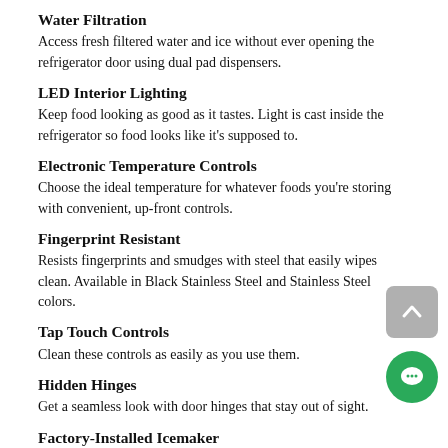Water Filtration
Access fresh filtered water and ice without ever opening the refrigerator door using dual pad dispensers.
LED Interior Lighting
Keep food looking as good as it tastes. Light is cast inside the refrigerator so food looks like it's supposed to.
Electronic Temperature Controls
Choose the ideal temperature for whatever foods you're storing with convenient, up-front controls.
Fingerprint Resistant
Resists fingerprints and smudges with steel that easily wipes clean. Available in Black Stainless Steel and Stainless Steel colors.
Tap Touch Controls
Clean these controls as easily as you use them.
Hidden Hinges
Get a seamless look with door hinges that stay out of sight.
Factory-Installed Icemaker
Don't worry about refilling ice trays with this pre-installed